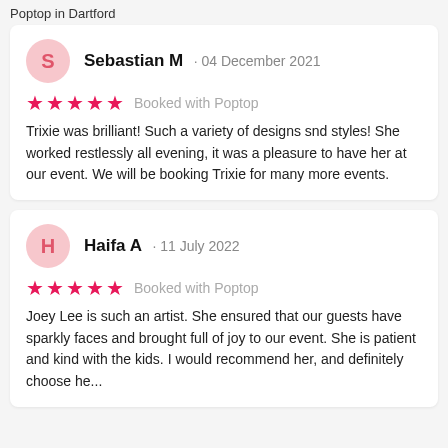Poptop in Dartford
Sebastian M · 04 December 2021
★★★★★ Booked with Poptop
Trixie was brilliant! Such a variety of designs snd styles! She worked restlessly all evening, it was a pleasure to have her at our event. We will be booking Trixie for many more events.
Haifa A · 11 July 2022
★★★★★ Booked with Poptop
Joey Lee is such an artist. She ensured that our guests have sparkly faces and brought full of joy to our event. She is patient and kind with the kids. I would recommend her, and definitely choose he...